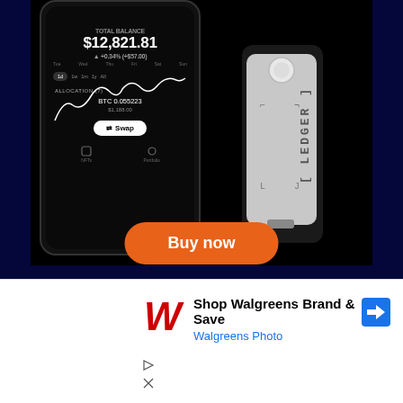[Figure (illustration): Ledger hardware cryptocurrency wallet advertisement. Dark navy background. Left side shows a smartphone with Ledger app displaying portfolio balance of $12,821.81 with a line chart. Right side shows a Ledger Nano X hardware wallet device in silver/black. Orange rounded 'Buy now' button at the bottom center.]
Buy now
[Figure (logo): Walgreens W logo in red cursive]
Shop Walgreens Brand & Save
Walgreens Photo